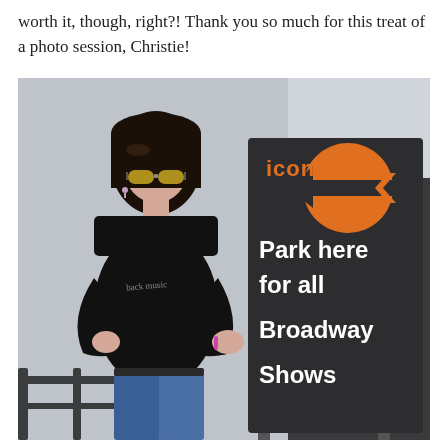worth it, though, right?! Thank you so much for this treat of a photo session, Christie!
[Figure (photo): A woman with dark hair and yellow sunglasses, wearing a black long-sleeve shirt and blue jeans, stands with arms crossed next to a dark sign that reads 'icon' with an orange arrow logo and 'Park here for all Broadway Shows' in white bold text.]